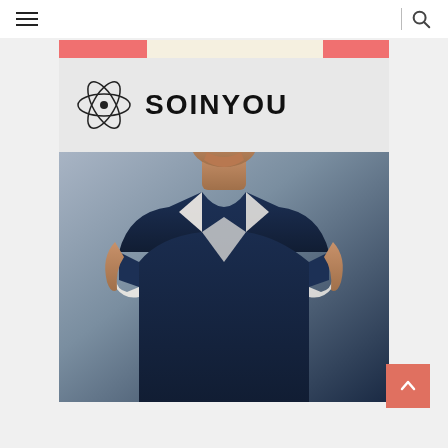Navigation bar with hamburger menu and search icon
[Figure (logo): SOINYOU brand logo with atom/science icon on left and bold uppercase SOINYOU text on right, on a light grey card with pink and cream color accent strip at top]
[Figure (photo): Man wearing a navy blue polo shirt with white collar and white cuff trim, seated, photographed from chest up, against a grey background]